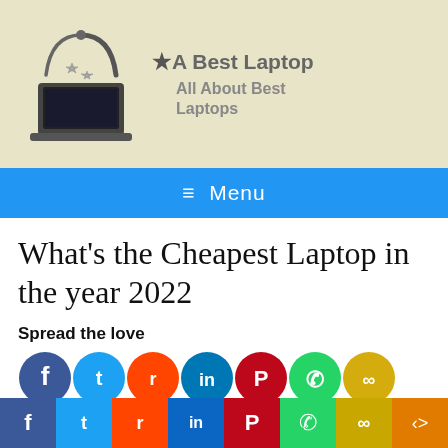[Figure (logo): A Best Laptop website logo with laptop and stars graphic and site tagline 'All About Best Laptops']
≡ Menu
What's the Cheapest Laptop in the year 2022
Spread the love
[Figure (infographic): Row of 8 social media share buttons: Facebook (blue), Twitter (light blue), Reddit (orange), LinkedIn (teal), Pinterest (red), WhatsApp (green), Copy Link (yellow-green), Share (orange)]
With advanced technology, our needs and are shifting from physical to online, almost
[Figure (infographic): Bottom social share bar with 8 colored sections: Facebook (blue), Twitter (light blue), Reddit (orange-red), LinkedIn (blue), Pinterest (red), WhatsApp (green), Copy link (yellow-green), Share (orange)]